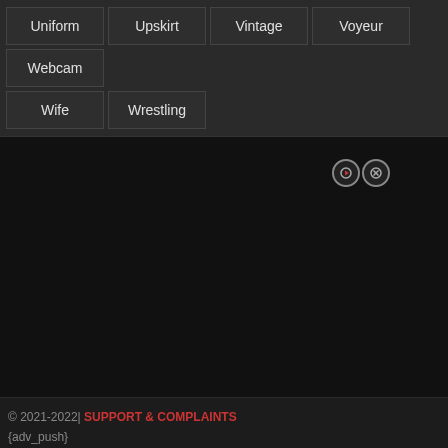Uniform
Upskirt
Vintage
Voyeur
Webcam
Wife
Wrestling
[Figure (other): Dark area with close/play icon buttons in top right]
© 2021-2022| SUPPORT & COMPLAINTS
{adv_push}